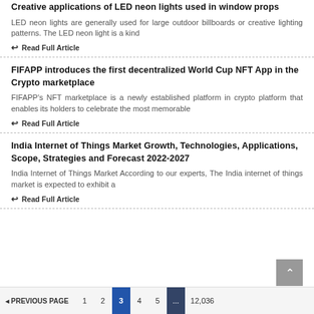Creative applications of LED neon lights used in window props
LED neon lights are generally used for large outdoor billboards or creative lighting patterns. The LED neon light is a kind
Read Full Article
FIFAPP introduces the first decentralized World Cup NFT App in the Crypto marketplace
FIFAPP's NFT marketplace is a newly established platform in crypto platform that enables its holders to celebrate the most memorable
Read Full Article
India Internet of Things Market Growth, Technologies, Applications, Scope, Strategies and Forecast 2022-2027
India Internet of Things Market According to our experts, The India internet of things market is expected to exhibit a
Read Full Article
PREVIOUS PAGE  1  2  3  4  5  ...  12,036